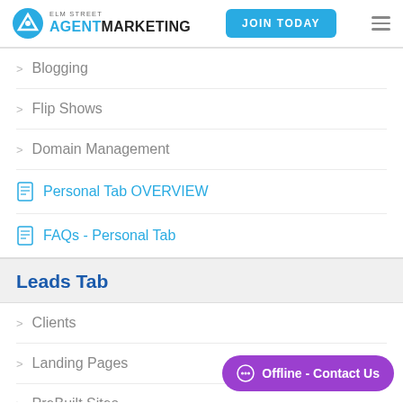Elm Street Agent Marketing — JOIN TODAY
Blogging
Flip Shows
Domain Management
Personal Tab OVERVIEW
FAQs - Personal Tab
Leads Tab
Clients
Landing Pages
PreBuilt Sites
Form Builder
Zapier
Offline - Contact Us